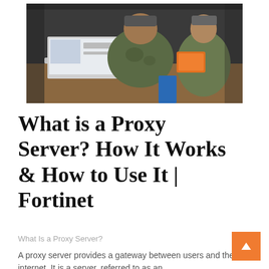[Figure (photo): Several people in military/camouflage uniforms gathered around a laptop computer on a desk]
What is a Proxy Server? How It Works & How to Use It | Fortinet
What Is a Proxy Server?
A proxy server provides a gateway between users and the internet. It is a server, referred to as an